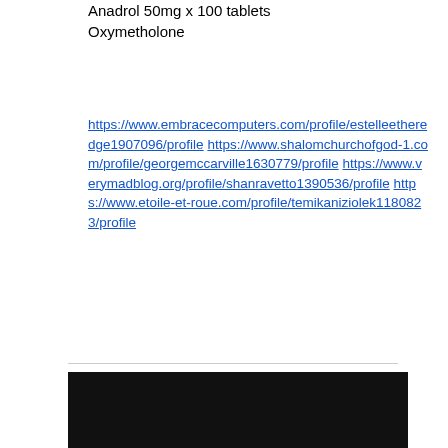Anadrol 50mg x 100 tablets
Oxymetholone
https://www.embracecomputers.com/profile/estelleetheredge1907096/profile https://www.shalomchurchofgod-1.com/profile/georgemccarville1630779/profile https://www.verymadblog.org/profile/shanravetto1390536/profile https://www.etoile-et-roue.com/profile/temikaniziolek1180823/profile
[Figure (other): Black rectangular bar at the bottom of the page]